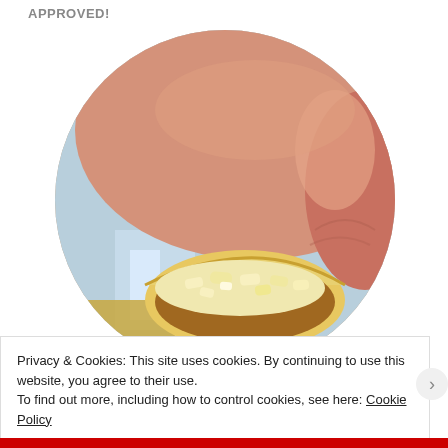APPROVED!
[Figure (photo): Close-up photo of a hand holding a small pastry or cookie that has been bitten into, showing a crumbly filling inside, displayed in a circular crop over a blue plate background.]
Privacy & Cookies: This site uses cookies. By continuing to use this website, you agree to their use.
To find out more, including how to control cookies, see here: Cookie Policy
Close and accept